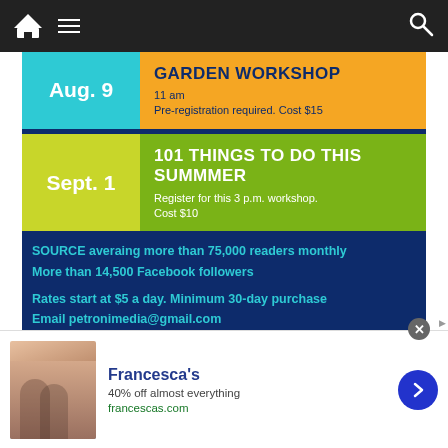[Figure (screenshot): Mobile website navigation bar with home icon, hamburger menu, and search icon on dark background]
Aug. 9
GARDEN WORKSHOP
11 am
Pre-registration required. Cost $15
Sept. 1
101 THINGS TO DO THIS SUMMMER
Register for this 3 p.m. workshop.
Cost $10
SOURCE averaing more than 75,000 readers monthly
More than 14,500 Facebook followers
Rates start at $5 a day. Minimum 30-day purchase
Email petronimedia@gmail.com
[Figure (photo): Partial view of a red text banner at the bottom of the page]
[Figure (other): Advertisement for Francesca's: 40% off almost everything, francescas.com, with photo of women and blue arrow button]